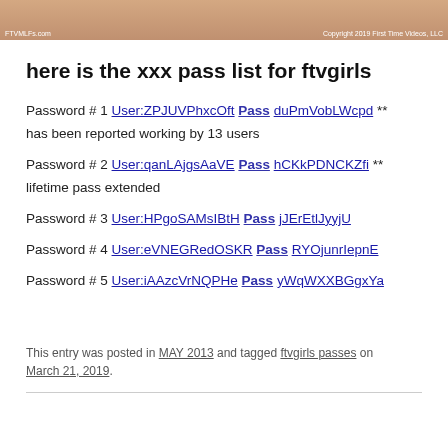[Figure (photo): Cropped bottom portion of a photo with a watermark reading 'FTVMLFs.com' on the left and 'Copyright 2019 First Time Videos, LLC' on the right.]
here is the xxx pass list for ftvgirls
Password # 1 User:ZPJUVPhxcOft Pass duPmVobLWcpd ** has been reported working by 13 users
Password # 2 User:qanLAjgsAaVE Pass hCKkPDNCKZfi ** lifetime pass extended
Password # 3 User:HPgoSAMsIBtH Pass jJErEtlJyyjU
Password # 4 User:eVNEGRedOSKR Pass RYOjunrIepnE
Password # 5 User:iAAzcVrNQPHe Pass yWqWXXBGgxYa
This entry was posted in MAY 2013 and tagged ftvgirls passes on March 21, 2019.